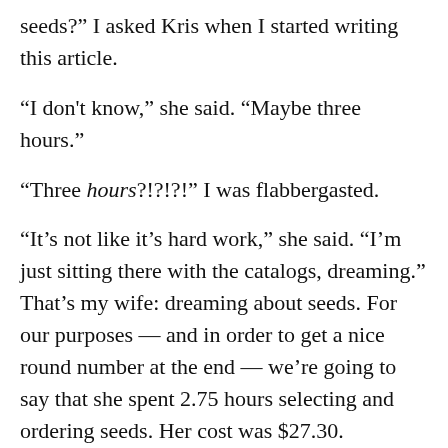seeds?" I asked Kris when I started writing this article.
“I don't know,” she said. “Maybe three hours.”
“Three hours?!?!?!” I was flabbergasted.
“It’s not like it’s hard work,” she said. “I’m just sitting there with the catalogs, dreaming.” That’s my wife: dreaming about seeds. For our purposes — and in order to get a nice round number at the end — we’re going to say that she spent 2.75 hours selecting and ordering seeds. Her cost was $27.30.
(Update: We use Totally Tomatoes for that fruit, and Territorial Seed for most everything else.)